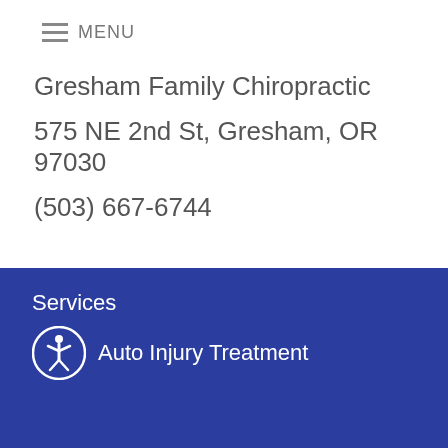MENU
Gresham Family Chiropractic
575 NE 2nd St, Gresham, OR 97030
(503) 667-6744
Services
Auto Injury Treatment